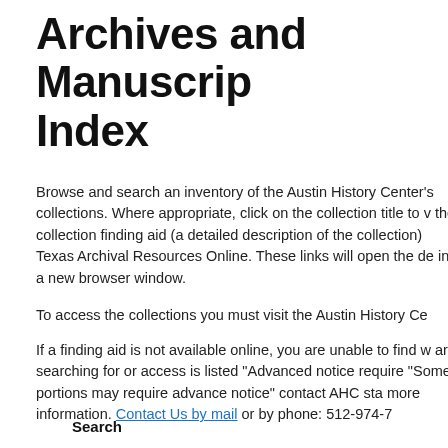Archives and Manuscripts Index
Browse and search an inventory of the Austin History Center's collections. Where appropriate, click on the collection title to view the collection finding aid (a detailed description of the collection) hosted on Texas Archival Resources Online. These links will open the description in a new browser window.
To access the collections you must visit the Austin History Center.
If a finding aid is not available online, you are unable to find what you are searching for or access is listed "Advanced notice required" or "Some portions may require advance notice" contact AHC staff for more information. Contact Us by mail or by phone: 512-974-7
Search